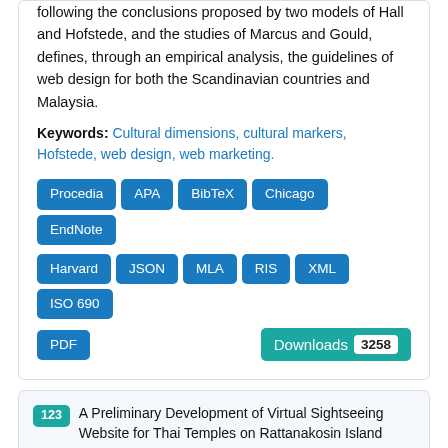following the conclusions proposed by two models of Hall and Hofstede, and the studies of Marcus and Gould, defines, through an empirical analysis, the guidelines of web design for both the Scandinavian countries and Malaysia.
Keywords: Cultural dimensions, cultural markers, Hofstede, web design, web marketing.
Procedia APA BibTeX Chicago EndNote Harvard JSON MLA RIS XML ISO 690 PDF Downloads 3258
123 A Preliminary Development of Virtual Sightseeing Website for Thai Temples on Rattanakosin Island
Authors: P. Jomsri